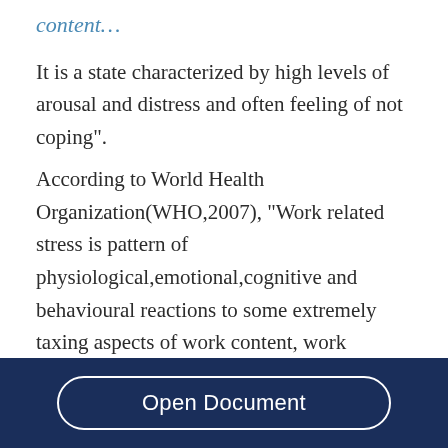content…
It is a state characterized by high levels of arousal and distress and often feeling of not coping”.
According to World Health Organization(WHO,2007), “Work related stress is pattern of physiological,emotional,cognitive and behavioural reactions to some extremely taxing aspects of work content, work organization and
Open Document